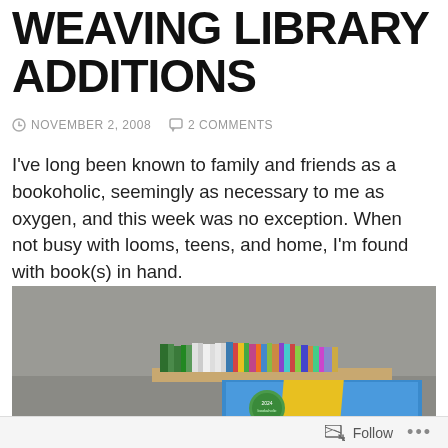WEAVING LIBRARY ADDITIONS
NOVEMBER 2, 2008   2 COMMENTS
I've long been known to family and friends as a bookoholic, seemingly as necessary to me as oxygen, and this week was no exception. When not busy with looms, teens, and home, I'm found with book(s) in hand.
[Figure (photo): A photograph showing several books or weaving-related items on a surface, with colorful spines visible at the top of the image and a blue book with a circular sticker partially visible at the bottom.]
Follow ...